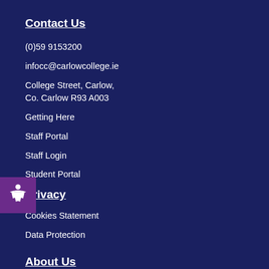Contact Us
(0)59 9153200
infocc@carlowcollege.ie
College Street, Carlow,
Co. Carlow R93 A003
Getting Here
Staff Portal
Staff Login
Student Portal
Privacy
Cookies Statement
Data Protection
About Us